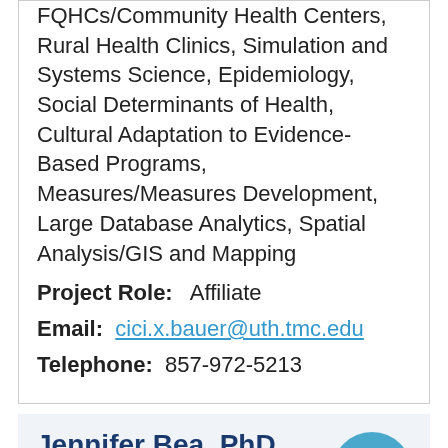FQHCs/Community Health Centers, Rural Health Clinics, Simulation and Systems Science, Epidemiology, Social Determinants of Health, Cultural Adaptation to Evidence-Based Programs, Measures/Measures Development, Large Database Analytics, Spatial Analysis/GIS and Mapping
Project Role:   Affiliate
Email:  cici.x.bauer@uth.tmc.edu
Telephone:  857-972-5213
Jennifer Bea, PhD